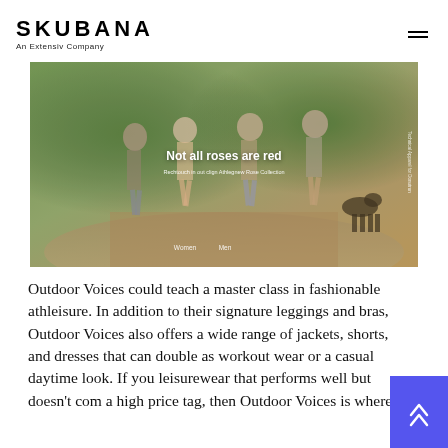SKUBANA — An Extensiv Company
[Figure (photo): Hero image of four women running/jogging on a path with a dog, overlaid with text 'Not all roses are red' and subtitle text. Navigation links 'Women' and 'Men' at bottom.]
Outdoor Voices could teach a master class in fashionable athleisure. In addition to their signature leggings and bras, Outdoor Voices also offers a wide range of jackets, shorts, and dresses that can double as workout wear or a casual daytime look. If you leisurewear that performs well but doesn't com a high price tag, then Outdoor Voices is where